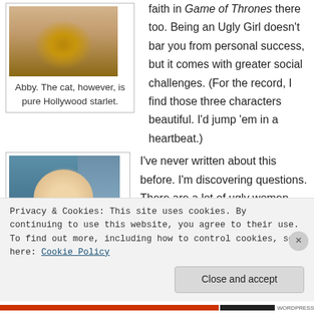[Figure (photo): Photo of a dog (Abby), close-up shot with warm brown tones]
Abby. The cat, however, is pure Hollywood starlet.
faith in Game of Thrones there too. Being an Ugly Girl doesn't bar you from personal success, but it comes with greater social challenges. (For the record, I find those three characters beautiful. I'd jump 'em in a heartbeat.)
[Figure (photo): Woman with blonde hair resting chin on hands, seated in a kitchen or home setting, wearing a patterned top]
I've never written about this before. I'm discovering questions. There are a lot of ugly women out there, but are
Privacy & Cookies: This site uses cookies. By continuing to use this website, you agree to their use.
To find out more, including how to control cookies, see here: Cookie Policy
Close and accept